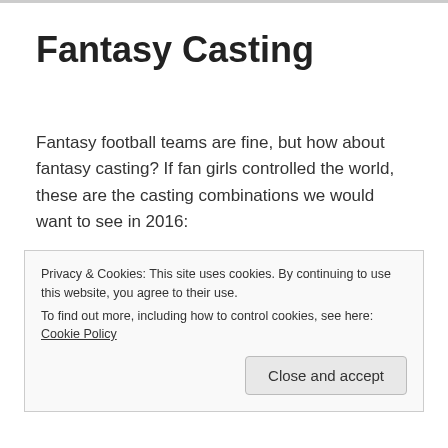Fantasy Casting
Fantasy football teams are fine, but how about fantasy casting?  If fan girls controlled the world, these are the casting combinations we would want to see in 2016:
KdramaJen: I want to see Seo in-Guk, Park Bo-Gum, Yoo Seung Ho, Joo Won, Ji Soo,  Song Joong-Ki and Lee Jong-suk in a drama about a boy band.  There will need to be plenty of empty shower scenes and bromance...
Privacy & Cookies: This site uses cookies. By continuing to use this website, you agree to their use.
To find out more, including how to control cookies, see here: Cookie Policy
Close and accept